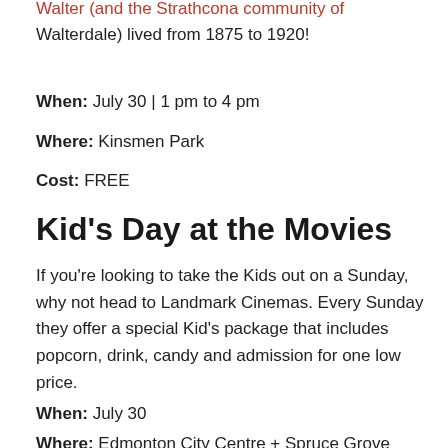Walter (and the Strathcona community of Walterdale) lived from 1875 to 1920!
When: July 30 | 1 pm to 4 pm
Where: Kinsmen Park
Cost: FREE
Kid's Day at the Movies
If you're looking to take the Kids out on a Sunday, why not head to Landmark Cinemas. Every Sunday they offer a special Kid's package that includes popcorn, drink, candy and admission for one low price.
When: July 30
Where: Edmonton City Centre + Spruce Grove